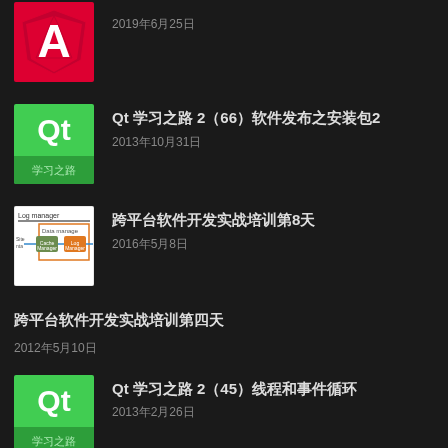[Figure (logo): Angular logo (red shield with white A)]
2019年6月25日
[Figure (logo): Qt 学习之路 logo on green background]
Qt 学习之路 2（66）软件发布之安装包2
2013年10月31日
[Figure (engineering-diagram): Log manager / Data manager architecture diagram with Cache Manager and Log Manager boxes]
跨平台软件开发实战培训第8天
2016年5月8日
跨平台软件开发实战培训第四天
2012年5月10日
[Figure (logo): Qt 学习之路 logo on green background]
Qt 学习之路 2（45）线程和事件循环
2013年2月26日
[Figure (illustration): Dive Into HTML5 book cover thumbnail]
Dive Into HTML5（中文版）